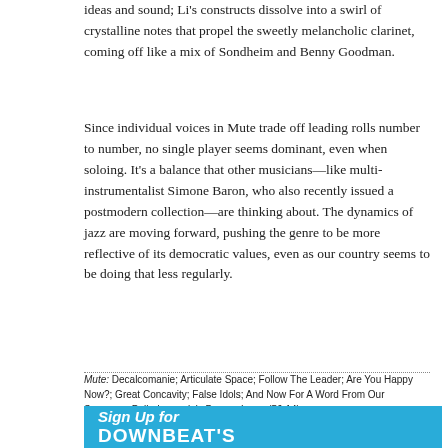ideas and sound; Li's constructs dissolve into a swirl of crystalline notes that propel the sweetly melancholic clarinet, coming off like a mix of Sondheim and Benny Goodman.
Since individual voices in Mute trade off leading rolls number to number, no single player seems dominant, even when soloing. It's a balance that other musicians—like multi-instrumentalist Simone Baron, who also recently issued a postmodern collection—are thinking about. The dynamics of jazz are moving forward, pushing the genre to be more reflective of its democratic values, even as our country seems to be doing that less regularly.
Mute: Decalcomanie; Articulate Space; Follow The Leader; Are You Happy Now?; Great Concavity; False Idols; And Now For A Word From Our Sponsors; Palindromania's Dream; Lava. (56:14)
Personnel: Kevin Sun, C-melody saxophone, clarinet; Christian Li, piano; Jeonglim Yang, bass; Dayeon Seok, drums.
[Figure (other): Blue banner advertisement reading 'Sign Up for DOWNBEAT'S' in white italic and bold text on a cyan/blue background]